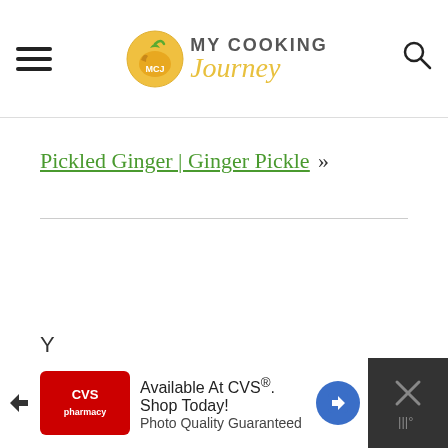MY COOKING Journey
Pickled Ginger | Ginger Pickle »
LEAVE A REPLY
[Figure (other): CVS pharmacy advertisement banner at bottom: 'Available At CVS®. Shop Today! Photo Quality Guaranteed']
Y